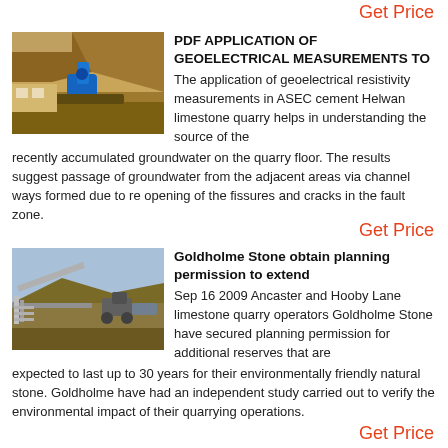Get Price
[Figure (photo): Quarry with blue machinery and rocky cliff face]
PDF APPLICATION OF GEOELECTRICAL MEASUREMENTS TO
The application of geoelectrical resistivity measurements in ASEC cement Helwan limestone quarry helps in understanding the source of the recently accumulated groundwater on the quarry floor. The results suggest passage of groundwater from the adjacent areas via channel ways formed due to re opening of the fissures and cracks in the fault zone.
Get Price
[Figure (photo): Open quarry landscape with conveyor belts and machinery]
Goldholme Stone obtain planning permission to extend
Sep 16 2009  Ancaster and Hooby Lane limestone quarry operators Goldholme Stone have secured planning permission for additional reserves that are expected to last up to 30 years for their environmentally friendly natural stone. Goldholme have had an independent study carried out to verify the environmental impact of their quarrying operations.
Get Price